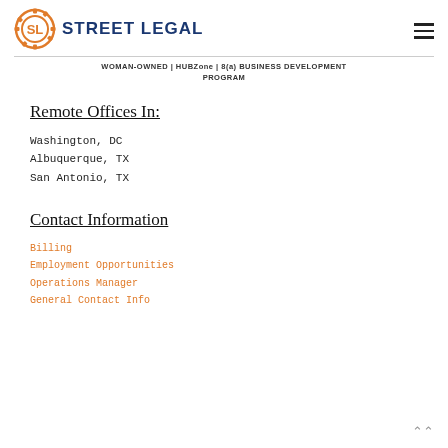[Figure (logo): Street Legal company logo: orange gear icon with 'SL' initials, beside bold dark blue text 'STREET LEGAL']
WOMAN-OWNED | HUBZone | 8(a) BUSINESS DEVELOPMENT PROGRAM
Remote Offices In:
Washington, DC
Albuquerque, TX
San Antonio, TX
Contact Information
Billing
Employment Opportunities
Operations Manager
General Contact Info